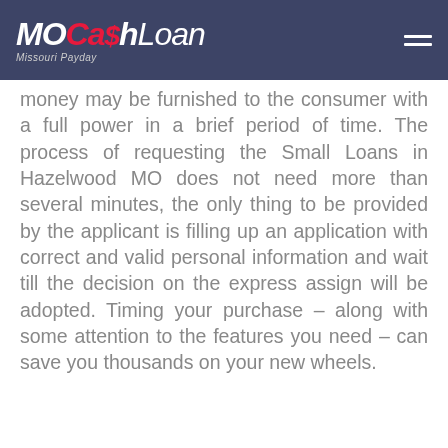[Figure (logo): MoCashLoan Missouri Payday logo — white and red italic text on dark navy/slate background, with hamburger menu icon top right]
money may be furnished to the consumer with a full power in a brief period of time. The process of requesting the Small Loans in Hazelwood MO does not need more than several minutes, the only thing to be provided by the applicant is filling up an application with correct and valid personal information and wait till the decision on the express assign will be adopted. Timing your purchase – along with some attention to the features you need – can save you thousands on your new wheels.